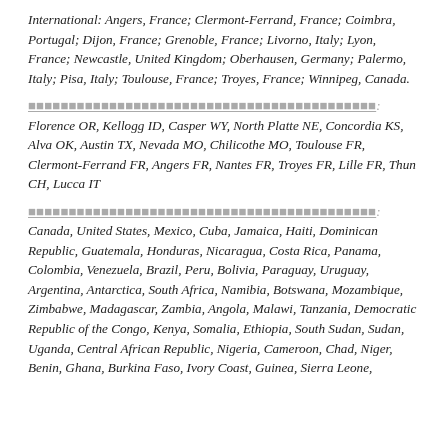International: Angers, France; Clermont-Ferrand, France; Coimbra, Portugal; Dijon, France; Grenoble, France; Livorno, Italy; Lyon, France; Newcastle, United Kingdom; Oberhausen, Germany; Palermo, Italy; Pisa, Italy; Toulouse, France; Troyes, France; Winnipeg, Canada.
[underlined redacted text]:
Florence OR, Kellogg ID, Casper WY, North Platte NE, Concordia KS, Alva OK, Austin TX, Nevada MO, Chilicothe MO, Toulouse FR, Clermont-Ferrand FR, Angers FR, Nantes FR, Troyes FR, Lille FR, Thun CH, Lucca IT
[underlined redacted text]:
Canada, United States, Mexico, Cuba, Jamaica, Haiti, Dominican Republic, Guatemala, Honduras, Nicaragua, Costa Rica, Panama, Colombia, Venezuela, Brazil, Peru, Bolivia, Paraguay, Uruguay, Argentina, Antarctica, South Africa, Namibia, Botswana, Mozambique, Zimbabwe, Madagascar, Zambia, Angola, Malawi, Tanzania, Democratic Republic of the Congo, Kenya, Somalia, Ethiopia, South Sudan, Sudan, Uganda, Central African Republic, Nigeria, Cameroon, Chad, Niger, Benin, Ghana, Burkina Faso, Ivory Coast, Guinea, Sierra Leone,